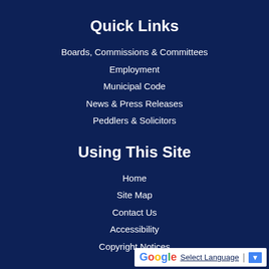Quick Links
Boards, Commissions & Committees
Employment
Municipal Code
News & Press Releases
Peddlers & Solicitors
Using This Site
Home
Site Map
Contact Us
Accessibility
Copyright Notices
[Figure (other): Google Translate widget with 'Select Language' text and dropdown arrow]